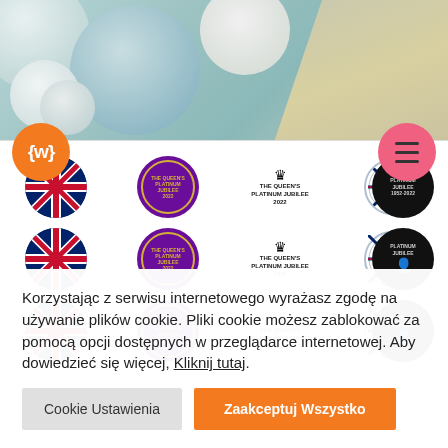[Figure (photo): Top banner showing bath bombs/spheres in blue-grey and white tones with sandy texture on right side]
[Figure (screenshot): Navigation bar with orange LWF logo circle, grid of Queen's Platinum Jubilee 2022 badge icons in rows (UK flags, purple jubilee circles, queens text logos, crest badges, black jubilee silhouette badges), and pink hamburger menu circle]
Korzystając z serwisu internetowego wyrażasz zgodę na używanie plików cookie. Pliki cookie możesz zablokować za pomocą opcji dostępnych w przeglądarce internetowej. Aby dowiedzieć się więcej, Kliknij tutaj.
Cookie Ustawienia
Zaakceptuj Wszystko